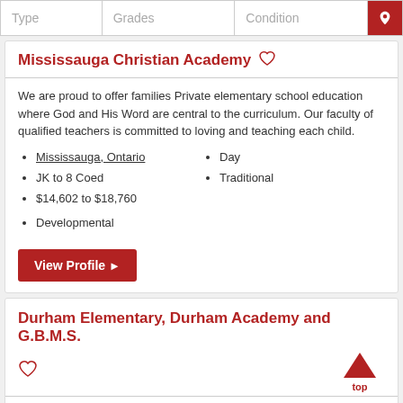| Type | Grades | Condition |  |
| --- | --- | --- | --- |
|  |
Mississauga Christian Academy
We are proud to offer families Private elementary school education where God and His Word are central to the curriculum. Our faculty of qualified teachers is committed to loving and teaching each child.
Mississauga, Ontario
JK to 8 Coed
$14,602 to $18,760
Day
Traditional
Developmental
Durham Elementary, Durham Academy and G.B.M.S.
At G.B.MS, D.E.P.S and Durham Academy Secondary school focus is on each individual student and helping them meet their unique potential and goals. We believe in excellent customer service and families have